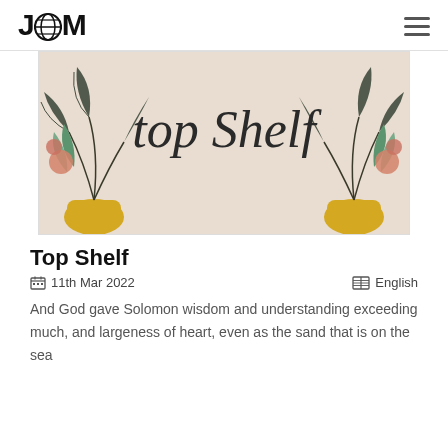JGM
[Figure (illustration): Decorative image with cursive 'top Shelf' text on a beige background with illustrated plants and foliage on left and right sides]
Top Shelf
11th Mar 2022    English
And God gave Solomon wisdom and understanding exceeding much, and largeness of heart, even as the sand that is on the sea